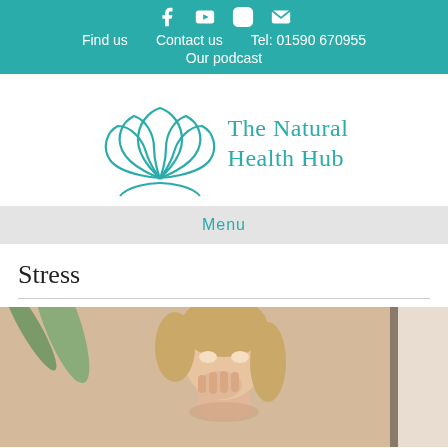Find us   Contact us   Tel: 01590 670955   Our podcast
[Figure (logo): The Natural Health Hub logo with lotus flower SVG and text]
Menu
Stress
[Figure (photo): Woman with blonde hair touching her head, appearing stressed, partial view]